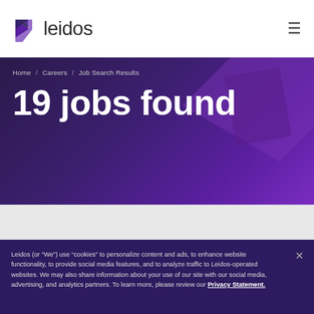[Figure (logo): Leidos logo with purple arrow/play button icon and 'leidos' wordmark text]
Home / Careers / Job Search Results
19 jobs found
Leidos (or “We”) use “cookies” to personalize content and ads, to enhance website functionality, to provide social media features, and to analyze traffic to Leidos-operated websites. We may also share information about your use of our site with our social media, advertising, and analytics partners. To learn more, please review our Privacy Statement.